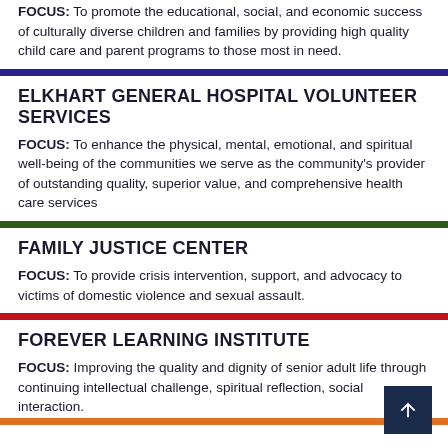FOCUS: To promote the educational, social, and economic success of culturally diverse children and families by providing high quality child care and parent programs to those most in need.
ELKHART GENERAL HOSPITAL VOLUNTEER SERVICES
FOCUS: To enhance the physical, mental, emotional, and spiritual well-being of the communities we serve as the community's provider of outstanding quality, superior value, and comprehensive health care services
FAMILY JUSTICE CENTER
FOCUS: To provide crisis intervention, support, and advocacy to victims of domestic violence and sexual assault.
FOREVER LEARNING INSTITUTE
FOCUS: Improving the quality and dignity of senior adult life through continuing intellectual challenge, spiritual reflection, social interaction.